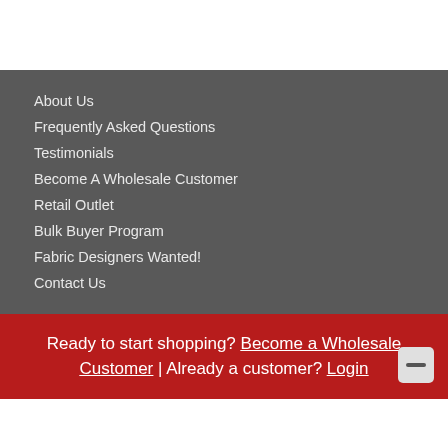About Us
Frequently Asked Questions
Testimonials
Become A Wholesale Customer
Retail Outlet
Bulk Buyer Program
Fabric Designers Wanted!
Contact Us
Ready to start shopping? Become a Wholesale Customer | Already a customer? Login